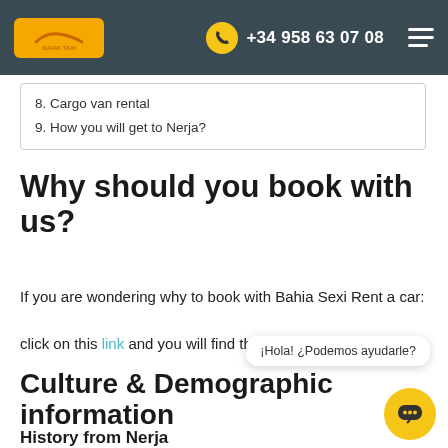Bahia Taxi | +34 958 63 07 08
8. Cargo van rental
9. How you will get to Nerja?
Why should you book with us?
If you are wondering why to book with Bahia Sexi Rent a car: click on this link and you will find the answers.
Culture & Demographic information
History from Nerja